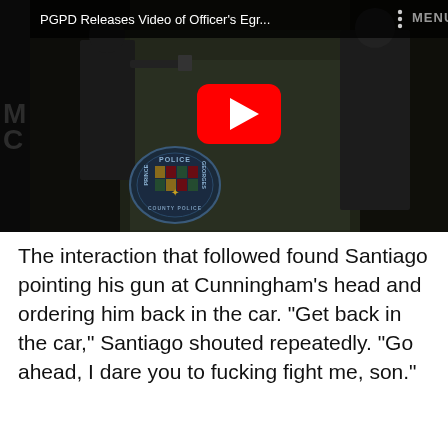[Figure (screenshot): YouTube video thumbnail showing a police encounter. Title bar reads 'PGPD Releases Video of Officer's Egr...' with a MENU label and three-dot menu icon. The video shows police officers in a dark scene with a Prince George's County Police badge visible. A red YouTube play button is centered over the image. Left side shows a black bar with 'MC' (Mic logo) text.]
The interaction that followed found Santiago pointing his gun at Cunningham's head and ordering him back in the car. "Get back in the car," Santiago shouted repeatedly. "Go ahead, I dare you to fucking fight me, son."